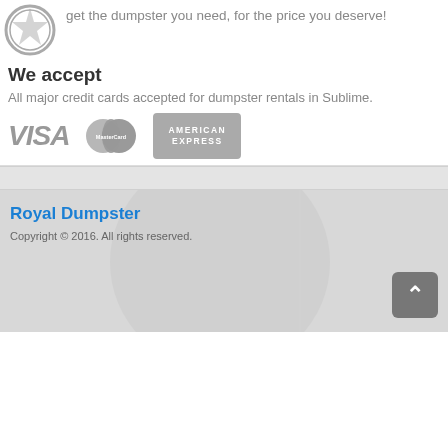get the dumpster you need, for the price you deserve!
We accept
All major credit cards accepted for dumpster rentals in Sublime.
[Figure (logo): Payment method logos: VISA, MasterCard, American Express shown in gray]
Royal Dumpster
Copyright © 2016. All rights reserved.